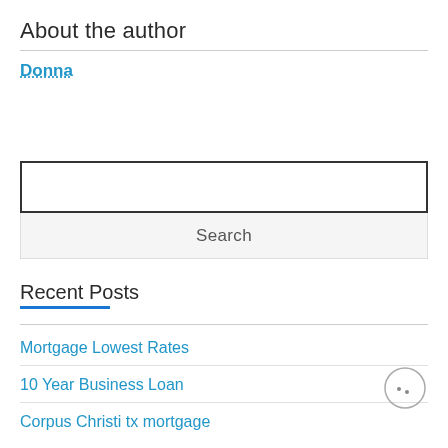About the author
Donna
[Figure (other): Search input box (empty text field)]
Search
Recent Posts
Mortgage Lowest Rates
10 Year Business Loan
Corpus Christi tx mortgage